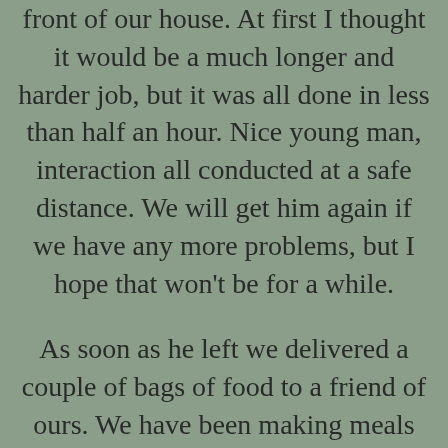front of our house.  At first I thought it would be a much longer and harder job, but it was all done in less than half an hour.  Nice young man, interaction all conducted at a safe distance. We will get him again if we have any more problems, but I hope that won't be for a while.
As soon as he left we delivered a couple of bags of food to a friend of ours.  We have been making meals and putting one aside for the freezer, and I had a couple of these for our friend.  It was good to see her but we did our part